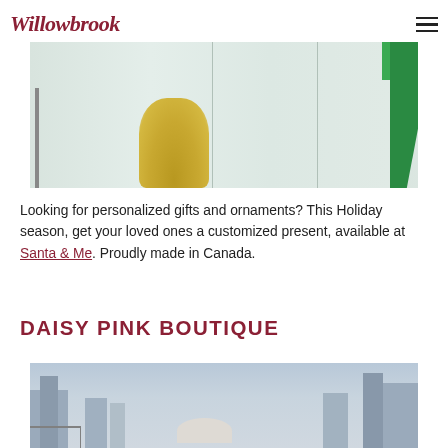Willowbrook
[Figure (photo): Holiday-themed flat lay photo with green items and a gold glittery plant against a white wooden plank background]
Looking for personalized gifts and ornaments? This Holiday season, get your loved ones a customized present, available at Santa & Me. Proudly made in Canada.
DAISY PINK BOUTIQUE
[Figure (photo): Person holding a white hat with a city skyline and bridge in the background, likely Vancouver]